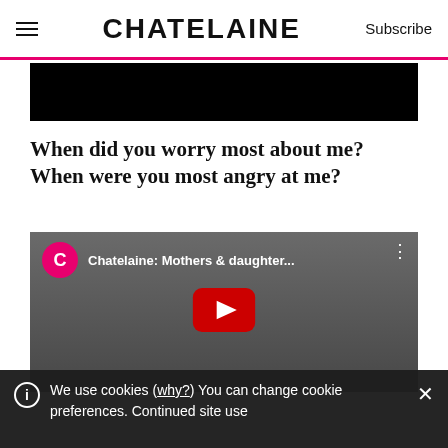CHATELAINE | Subscribe
[Figure (other): Black rectangular banner image at the top of the article]
When did you worry most about me? When were you most angry at me?
[Figure (screenshot): YouTube video thumbnail showing Chatelaine: Mothers & daughter... with a black and white photo of two women (mother and daughter) posing together, with a red YouTube play button in the center and a pink Chatelaine channel icon in the top left]
We use cookies (why?) You can change cookie preferences. Continued site use